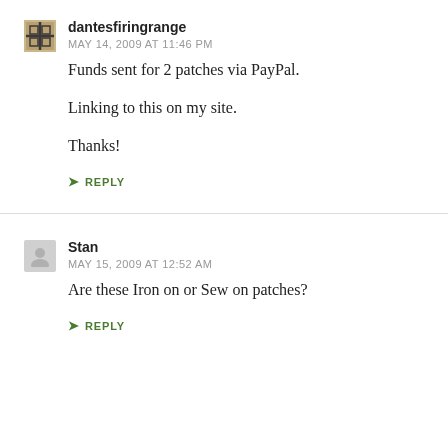dantesfiringrange
MAY 14, 2009 AT 11:46 PM
Funds sent for 2 patches via PayPal.

Linking to this on my site.

Thanks!
REPLY
Stan
MAY 15, 2009 AT 12:52 AM
Are these Iron on or Sew on patches?
REPLY